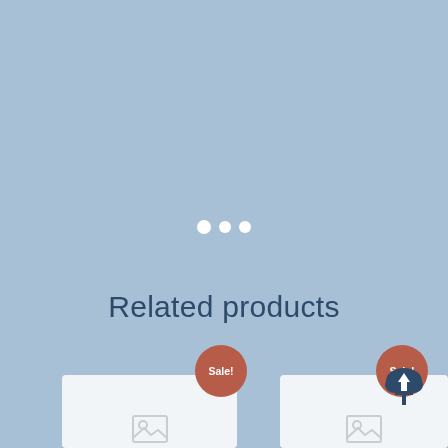[Figure (infographic): Three white dots (loading indicator) on a light blue background]
Related products
[Figure (infographic): Two product cards partially visible at the bottom of the page, each with a red 'Sale!' badge. The right card also shows a cloud upload icon overlapping the badge.]